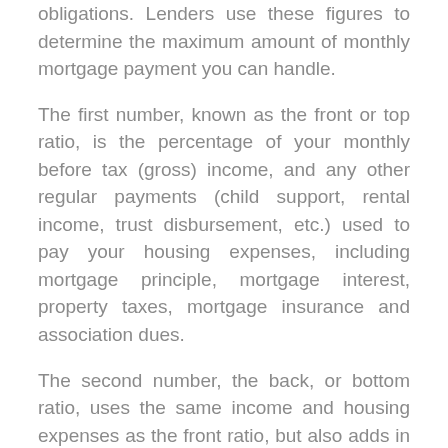obligations. Lenders use these figures to determine the maximum amount of monthly mortgage payment you can handle.
The first number, known as the front or top ratio, is the percentage of your monthly before tax (gross) income, and any other regular payments (child support, rental income, trust disbursement, etc.) used to pay your housing expenses, including mortgage principle, mortgage interest, property taxes, mortgage insurance and association dues.
The second number, the back, or bottom ratio, uses the same income and housing expenses as the front ratio, but also adds in any long-term obligations such as school loans, vehicle loans, and other consumer debt (like that couch you